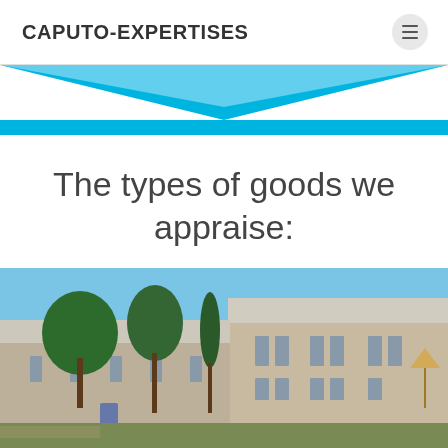CAPUTO-EXPERTISES
[Figure (illustration): Blue banner with white chevron/triangle pointing downward, cyan/sky blue background]
The types of goods we appraise:
[Figure (photo): Exterior photograph of a French stone farmhouse (bastide) with blue-grey shutters, surrounded by trees including tall cypresses, under a blue sky]